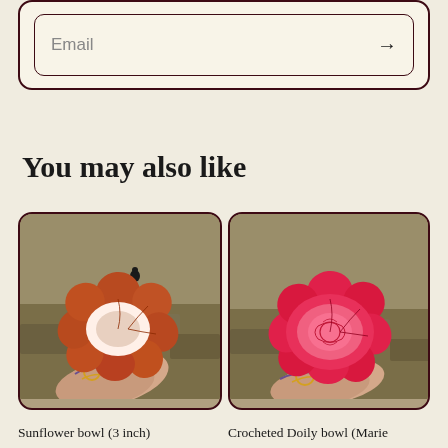[Figure (screenshot): Email input field with arrow button on cream/beige background with dark maroon border]
You may also like
[Figure (photo): Sunflower bowl (3 inch) - a ceramic flower-shaped bowl in orange/brown tones held on a tattooed arm, photographed on grass with a small black cat in background]
Sunflower bowl (3 inch)
[Figure (photo): Crocheted Doily bowl (Marie) - a bright pink ceramic flower-shaped bowl with embossed floral pattern held on a tattooed arm, photographed on grass]
Crocheted Doily bowl (Marie